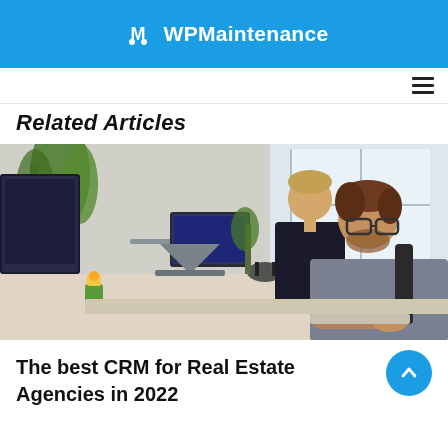WPMaintenance
Related Articles
[Figure (photo): Two men working at desks in a modern office. The closer man has a beard and glasses, wearing a grey sweater, working at a computer. The other man in background wears a black top. There are plants, monitors, and laptops on the desks.]
The best CRM for Real Estate Agencies in 2022